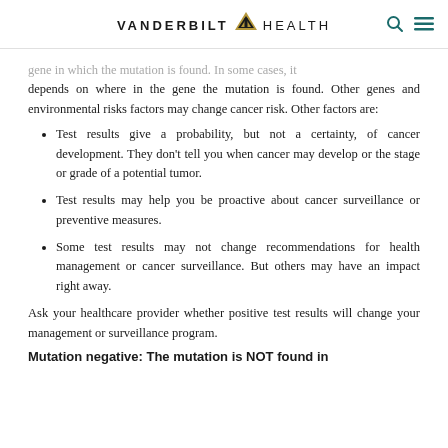VANDERBILT HEALTH
gene in which the mutation is found. In some cases, it depends on where in the gene the mutation is found. Other genes and environmental risks factors may change cancer risk. Other factors are:
Test results give a probability, but not a certainty, of cancer development. They don't tell you when cancer may develop or the stage or grade of a potential tumor.
Test results may help you be proactive about cancer surveillance or preventive measures.
Some test results may not change recommendations for health management or cancer surveillance. But others may have an impact right away.
Ask your healthcare provider whether positive test results will change your management or surveillance program.
Mutation negative: The mutation is NOT found in